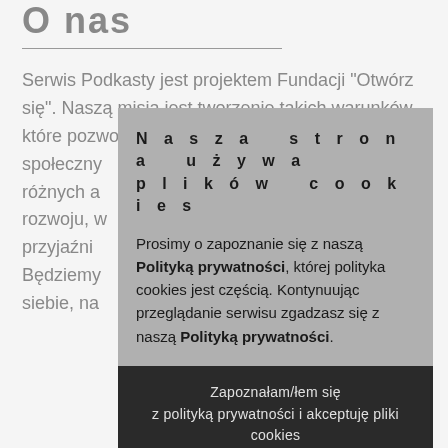O nas
Serwis Podkasty jest projektem Fundacji "Otwórz się". Naszą misją jest tworzenie takich warunków, które pozwolą na otwieranie się ludzi i grup społeczny różnych a rozwoju, w przyjaźni Będziemy siebie, na
Nasza strona używa plików cookies
Prosimy o zapoznanie się z naszą Polityką prywatności, której polityka cookies jest częścią. Kontynuując przeglądanie serwisu zgadzasz się z naszą Polityką prywatności.
Zapoznałam/łem się
z polityką prywatności i akceptuję pliki cookies